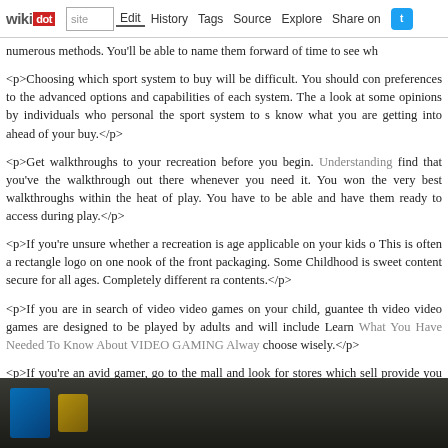wikidot | site Edit History Tags Source Explore Share on [Twitter]
numerous methods. You'll be able to name them forward of time to see wh
<p>Choosing which sport system to buy will be difficult. You should con preferences to the advanced options and capabilities of each system. The a look at some opinions by individuals who personal the sport system to s know what you are getting into ahead of your buy.</p>
<p>Get walkthroughs to your recreation before you begin. Understanding find that you've the walkthrough out there whenever you need it. You won the very best walkthroughs within the heat of play. You have to be able and have them ready to access during play.</p>
<p>If you're unsure whether a recreation is age applicable on your kids o This is often a rectangle logo on one nook of the front packaging. Some Childhood is sweet content secure for all ages. Completely different ra contents.</p>
<p>If you are in search of video video games on your child, guantee th video video games are designed to be played by adults and will include Learn What You Have Needed To Know About VIDEO GAMING Alway choose wisely.</p>
<p>If you're an avid gamer, go to the mall and look for stores which sell provide you with a large discount of generally 50-75% of the original va proportion of games in the course of the course of the year.</p>
[Figure (photo): Dark background image strip at the bottom, showing what appears to be a game-related scene with colored accent shapes]